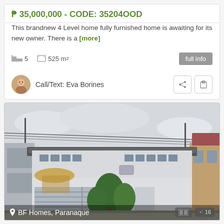₱ 35,000,000 - CODE: 35204OOD
This brandnew 4 Level home fully furnished home is awaiting for its new owner. There is a [more]
5 bedrooms  525 m²
Call/Text: Eva Borines
[Figure (photo): Exterior photo of a large multi-story house in BF Homes, Paranaque with gray facade, large gate, and landscaping]
BF Homes, Paranaque